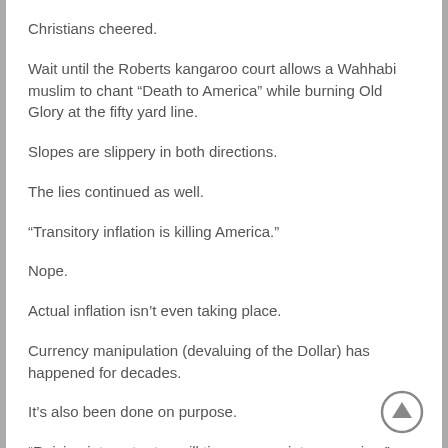Christians cheered.
Wait until the Roberts kangaroo court allows a Wahhabi muslim to chant “Death to America” while burning Old Glory at the fifty yard line.
Slopes are slippery in both directions.
The lies continued as well.
“Transitory inflation is killing America.”
Nope.
Actual inflation isn’t even taking place.
Currency manipulation (devaluing of the Dollar) has happened for decades.
It’s also been done on purpose.
“Raising interest rates will tip economy into recession.”